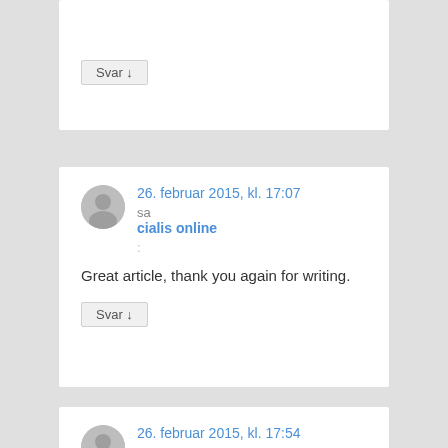Svar ↓
26. februar 2015, kl. 17:07
sa
cialis online
:
Great article, thank you again for writing.
Svar ↓
26. februar 2015, kl. 17:54
sa
generic viagra
: